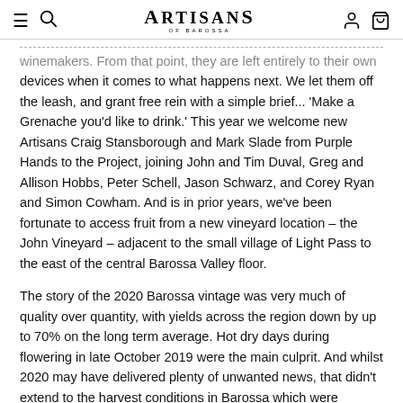Artisans of Barossa
winemakers. From that point, they are left entirely to their own devices when it comes to what happens next. We let them off the leash, and grant free rein with a simple brief... 'Make a Grenache you'd like to drink.' This year we welcome new Artisans Craig Stansborough and Mark Slade from Purple Hands to the Project, joining John and Tim Duval, Greg and Allison Hobbs, Peter Schell, Jason Schwarz, and Corey Ryan and Simon Cowham. And is in prior years, we've been fortunate to access fruit from a new vineyard location – the John Vineyard – adjacent to the small village of Light Pass to the east of the central Barossa Valley floor.
The story of the 2020 Barossa vintage was very much of quality over quantity, with yields across the region down by up to 70% on the long term average. Hot dry days during flowering in late October 2019 were the main culprit. And whilst 2020 may have delivered plenty of unwanted news, that didn't extend to the harvest conditions in Barossa which were